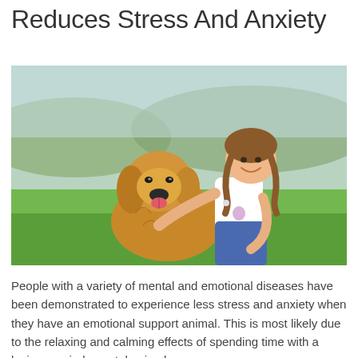Reduces Stress And Anxiety
[Figure (photo): A young girl with braids smiling and hugging a golden retriever dog sitting in a green grassy field with blurred trees and hills in the background.]
People with a variety of mental and emotional diseases have been demonstrated to experience less stress and anxiety when they have an emotional support animal. This is most likely due to the relaxing and calming effects of spending time with a loving, nonjudgmental animal.
Furthermore, caring for an animal may provide you with a